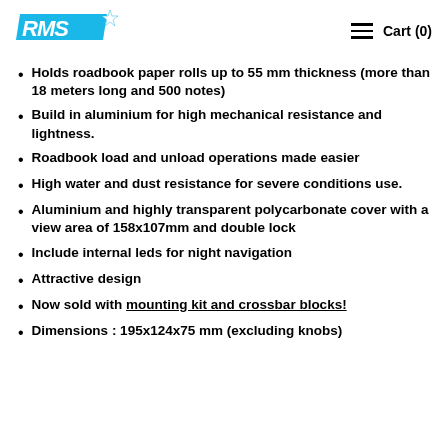RMS logo | Cart (0)
Holds roadbook paper rolls up to 55 mm thickness (more than 18 meters long and 500 notes)
Build in aluminium for high mechanical resistance and lightness.
Roadbook load and unload operations made easier
High water and dust resistance for severe conditions use.
Aluminium and highly transparent polycarbonate cover with a view area of 158x107mm and double lock
Include internal leds for night navigation
Attractive design
Now sold with mounting kit and crossbar blocks!
Dimensions : 195x124x75 mm (excluding knobs)